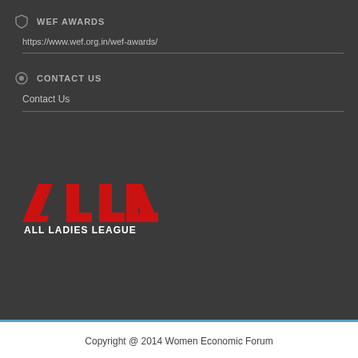WEF AWARDS
https://www.wef.org.in/wef-awards/
CONTACT US
Contact Us
[Figure (logo): ALL - All Ladies League logo with bold red stylized letters and white text below]
Copyright @ 2014 Women Economic Forum